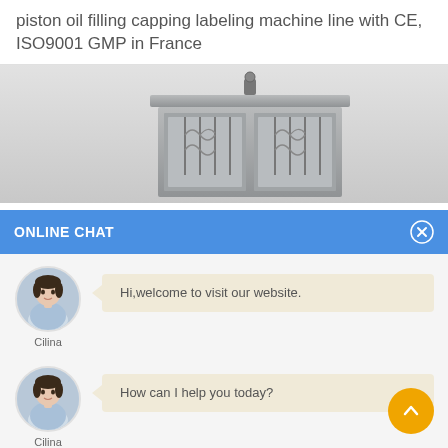piston oil filling capping labeling machine line with CE, ISO9001 GMP in France
[Figure (photo): Industrial piston oil filling capping labeling machine — a large stainless steel cabinet with two glass-windowed doors showing internal filling mechanisms with tubes and nozzles, and a small camera or sensor mounted on top.]
ONLINE CHAT
[Figure (photo): Avatar photo of a female customer service representative named Cilina, wearing a light blue shirt, shown in a circular crop with a soft blue-grey background.]
Hi,welcome to visit our website.
Cilina
[Figure (photo): Avatar photo of a female customer service representative named Cilina, wearing a light blue shirt, shown in a circular crop with a soft blue-grey background.]
How can I help you today?
Cilina